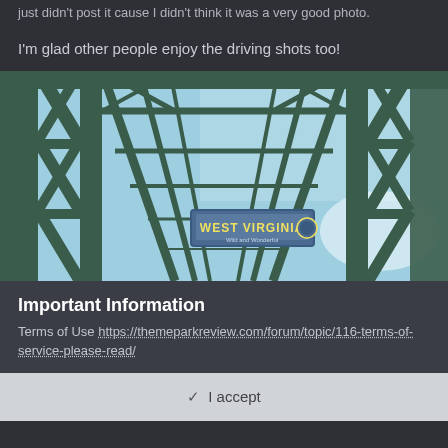just didn't post it cause I didn't think it was a very good photo.
I'm glad other people enjoy the driving shots too!
[Figure (photo): View from inside a steel truss bridge looking down the tunnel of green metal girders and cross-beams toward a West Virginia welcome sign hanging in the middle distance, with blue sky visible through the lattice work.]
Important Information
Terms of Use https://themeparkreview.com/forum/topic/116-terms-of-service-please-read/
✓ I accept